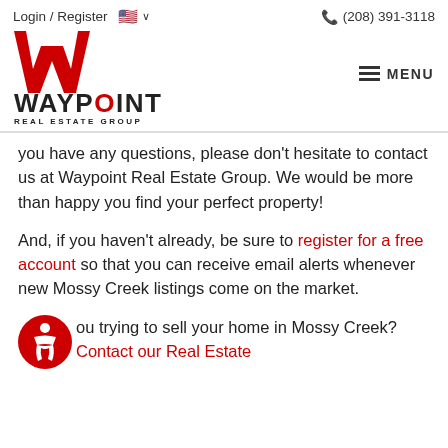Login / Register   🇺🇸 ∨   (208) 391-3118
[Figure (logo): Waypoint Real Estate Group logo: large red W above WAYPOINT text with red O, and subtitle REAL ESTATE GROUP]
you have any questions, please don't hesitate to contact us at Waypoint Real Estate Group. We would be more than happy you find your perfect property!
And, if you haven't already, be sure to register for a free account so that you can receive email alerts whenever new Mossy Creek listings come on the market.
ou trying to sell your home in Mossy Creek? Contact our Real Estate